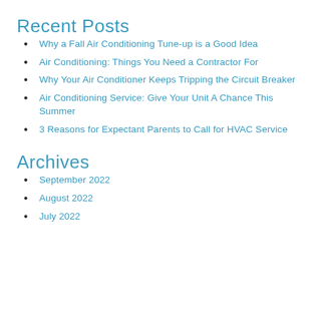Recent Posts
Why a Fall Air Conditioning Tune-up is a Good Idea
Air Conditioning: Things You Need a Contractor For
Why Your Air Conditioner Keeps Tripping the Circuit Breaker
Air Conditioning Service: Give Your Unit A Chance This Summer
3 Reasons for Expectant Parents to Call for HVAC Service
Archives
September 2022
August 2022
July 2022